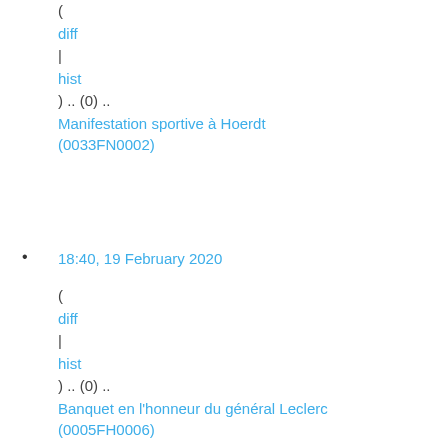( diff | hist ) .. (0) .. Manifestation sportive à Hoerdt (0033FN0002)
18:40, 19 February 2020
( diff | hist ) .. (0) .. Banquet en l'honneur du général Leclerc (0005FH0006)